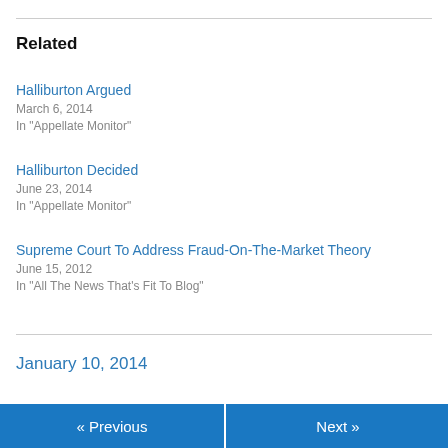Related
Halliburton Argued
March 6, 2014
In "Appellate Monitor"
Halliburton Decided
June 23, 2014
In "Appellate Monitor"
Supreme Court To Address Fraud-On-The-Market Theory
June 15, 2012
In "All The News That's Fit To Blog"
January 10, 2014
« Previous   Next »